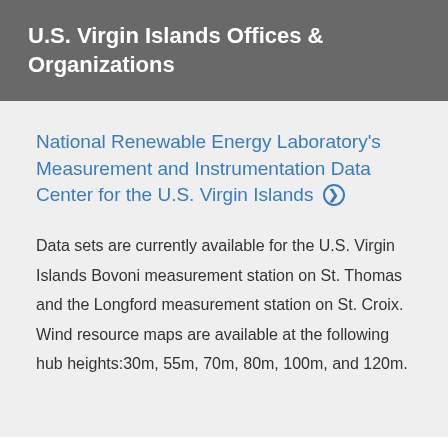U.S. Virgin Islands Offices & Organizations
National Renewable Energy Laboratory's Measurement and Instrumentation Data Center for the U.S. Virgin Islands ❯
Data sets are currently available for the U.S. Virgin Islands Bovoni measurement station on St. Thomas and the Longford measurement station on St. Croix. Wind resource maps are available at the following hub heights:30m, 55m, 70m, 80m, 100m, and 120m.